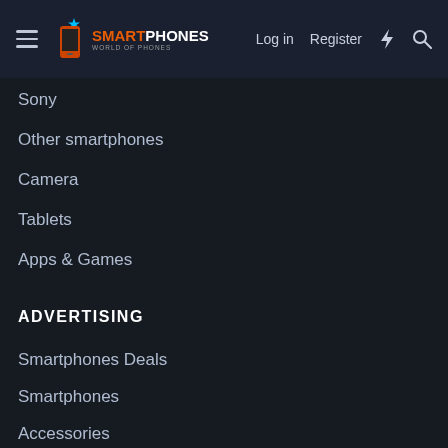SMARTPHONES — Log in | Register
Sony
Other smartphones
Camera
Tablets
Apps & Games
ADVERTISING
Smartphones Deals
Smartphones
Accessories
Tablets
Computers